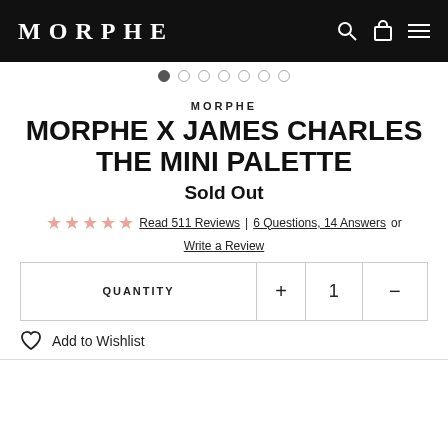MORPHE
MORPHE
MORPHE X JAMES CHARLES THE MINI PALETTE
Sold Out
Read 511 Reviews | 6 Questions, 14 Answers or Write a Review
| QUANTITY | + | 1 | - |
| --- | --- | --- | --- |
Add to Wishlist